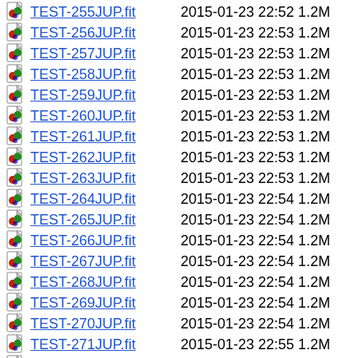TEST-255JUP.fit  2015-01-23 22:52 1.2M
TEST-256JUP.fit  2015-01-23 22:53 1.2M
TEST-257JUP.fit  2015-01-23 22:53 1.2M
TEST-258JUP.fit  2015-01-23 22:53 1.2M
TEST-259JUP.fit  2015-01-23 22:53 1.2M
TEST-260JUP.fit  2015-01-23 22:53 1.2M
TEST-261JUP.fit  2015-01-23 22:53 1.2M
TEST-262JUP.fit  2015-01-23 22:53 1.2M
TEST-263JUP.fit  2015-01-23 22:53 1.2M
TEST-264JUP.fit  2015-01-23 22:54 1.2M
TEST-265JUP.fit  2015-01-23 22:54 1.2M
TEST-266JUP.fit  2015-01-23 22:54 1.2M
TEST-267JUP.fit  2015-01-23 22:54 1.2M
TEST-268JUP.fit  2015-01-23 22:54 1.2M
TEST-269JUP.fit  2015-01-23 22:54 1.2M
TEST-270JUP.fit  2015-01-23 22:54 1.2M
TEST-271JUP.fit  2015-01-23 22:55 1.2M
TEST-272JUP.fit  2015-01-23 22:55 1.2M